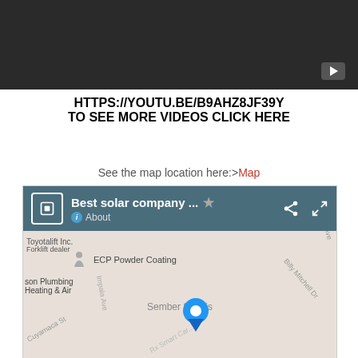[Figure (screenshot): Dark video player bar with play button in bottom right corner]
HTTPS://YOUTU.BE/B9AHZ8JF39Y TO SEE MORE VIDEOS CLICK HERE
See the map location here: >Map
[Figure (screenshot): Google Maps embed showing Best solar company location with a blue map pin marker, with map header bar showing title, share and expand icons]